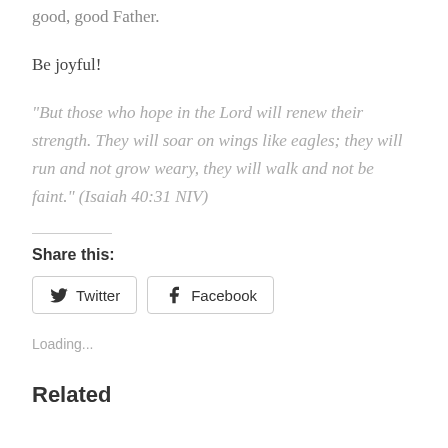good, good Father.
Be joyful!
“But those who hope in the Lord will renew their strength. They will soar on wings like eagles; they will run and not grow weary, they will walk and not be faint.” (Isaiah 40:31 NIV)
Share this:
Twitter
Facebook
Loading...
Related